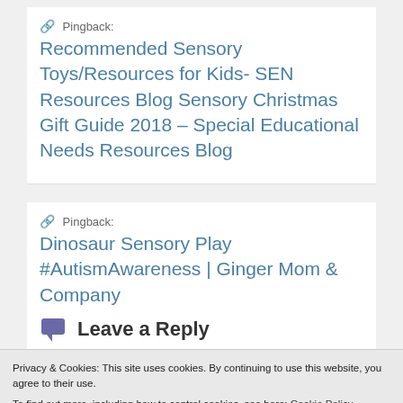Pingback: Recommended Sensory Toys/Resources for Kids- SEN Resources Blog Sensory Christmas Gift Guide 2018 – Special Educational Needs Resources Blog
Pingback: Dinosaur Sensory Play #AutismAwareness | Ginger Mom & Company
Leave a Reply
Privacy & Cookies: This site uses cookies. By continuing to use this website, you agree to their use.
To find out more, including how to control cookies, see here: Cookie Policy